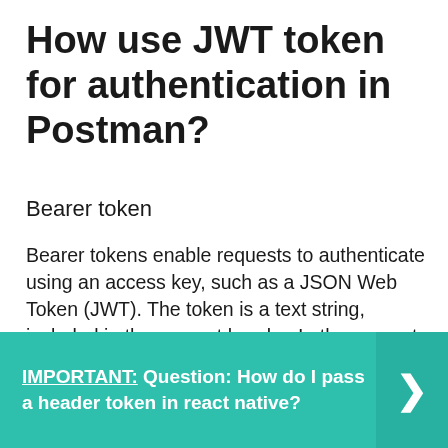How use JWT token for authentication in Postman?
Bearer token
Bearer tokens enable requests to authenticate using an access key, such as a JSON Web Token (JWT). The token is a text string, included in the request header. In the request Authorization tab, select Bearer Token from the Type dropdown list. In the Token field, enter your API key value.
IMPORTANT:  Question: How do I pass a header token in react native?